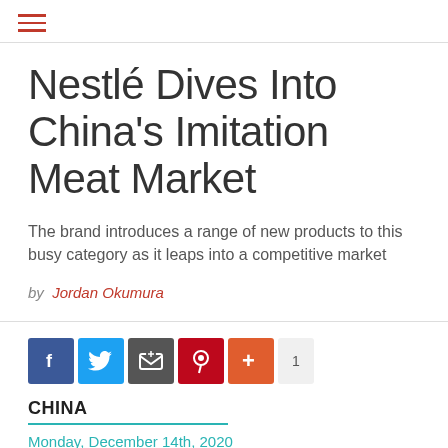≡
Nestlé Dives Into China's Imitation Meat Market
The brand introduces a range of new products to this busy category as it leaps into a competitive market
by Jordan Okumura
[Figure (other): Social sharing icons: Facebook (blue), Twitter (light blue), Email (gray), Pinterest (red), Plus/More (orange), count badge showing 1]
CHINA
Monday, December 14th, 2020